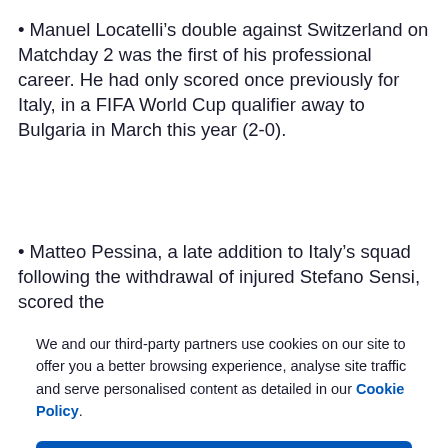• Manuel Locatelli's double against Switzerland on Matchday 2 was the first of his professional career. He had only scored once previously for Italy, in a FIFA World Cup qualifier away to Bulgaria in March this year (2-0).
• Matteo Pessina, a late addition to Italy's squad following the withdrawal of injured Stefano Sensi, scored the
We and our third-party partners use cookies on our site to offer you a better browsing experience, analyse site traffic and serve personalised content as detailed in our Cookie Policy.
✓  Accept all
✗  Reject all
Cookie settings >